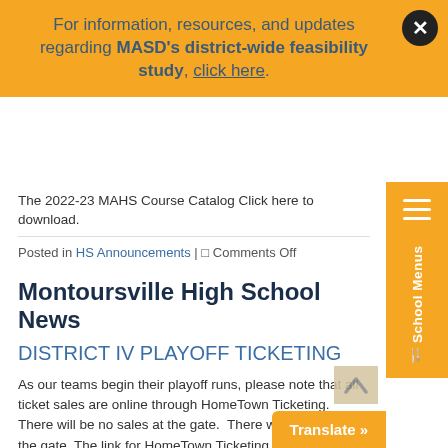For information, resources, and updates regarding MASD's district-wide feasibility study, click here.
The 2022-23 MAHS Course Catalog Click here to download.
Posted in HS Announcements | 0 Comments Off
Montoursville High School News
DISTRICT IV PLAYOFF TICKETING
As our teams begin their playoff runs, please note that all ticket sales are online through HomeTown Ticketing.  There will be no sales at the gate.  There will be no cash at the gate. The link for HomeTown Ticketing is: Read More …
Posted in HS News | 0 Comments Off